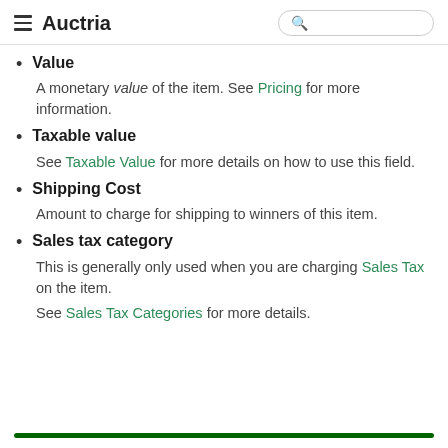Auctria
Value
A monetary value of the item. See Pricing for more information.
Taxable value
See Taxable Value for more details on how to use this field.
Shipping Cost
Amount to charge for shipping to winners of this item.
Sales tax category
This is generally only used when you are charging Sales Tax on the item.
See Sales Tax Categories for more details.